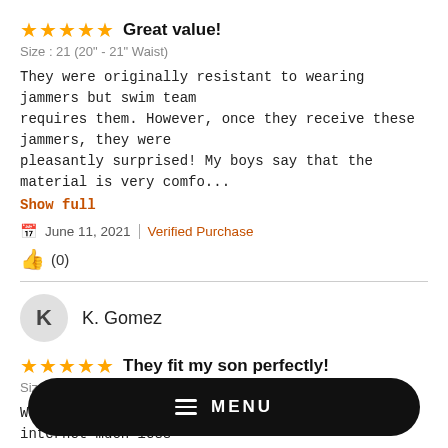★★★★★ Great value!
Size : 21 (20" - 21" Waist)
They were originally resistant to wearing jammers but swim team requires them. However, once they receive these jammers, they were pleasantly surprised! My boys say that the material is very comfo...
Show full
June 11, 2021 | Verified Purchase
👍 (0)
K. Gomez
★★★★★ They fit my son perfectly!
Size : 21 (20" - 21" Waist)
Was a little skeptical buying something off the internet much less swim bottoms for my 5 year old, but they fit perfectly! Not too short in the crotch area and a great length. He'll be using these ...
Show full
MENU